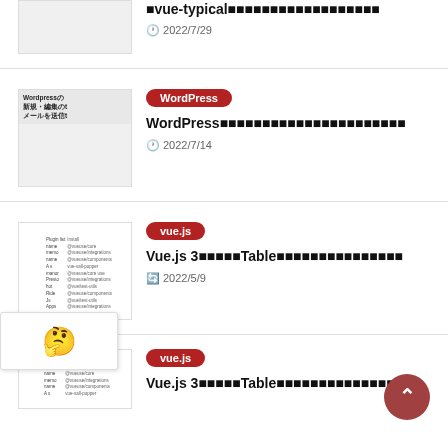■vue-typical■■■■■■■■■■■■■■■■■■ 2022/7/29
WordPress | WordPress■■■■■■■■■■■■■■■■■■■■■■ | 2022/7/14
vue.js | Vue.js 3■■■■■Table■■■■■■■■■■■■■■■ | 2022/5/9
vue.js | Vue.js 3■■■■■Table■■■■■■■■■■■■■■■